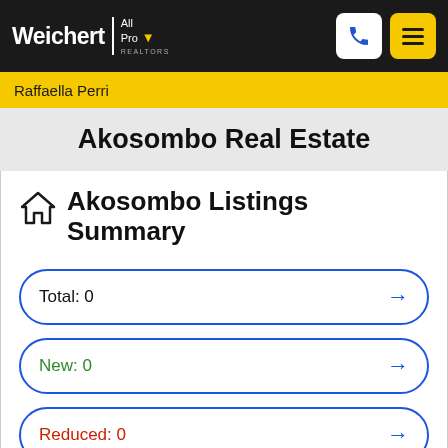Weichert | All Pro
Raffaella Perri
Akosombo Real Estate
Akosombo Listings Summary
Total: 0
New: 0
Reduced: 0